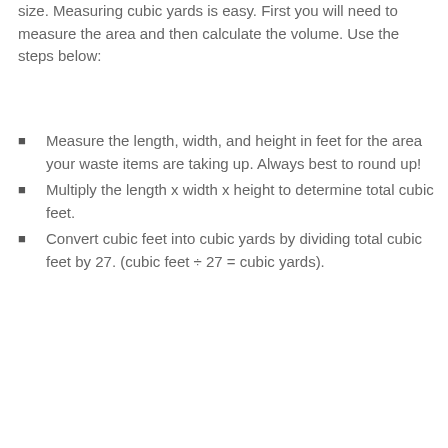size. Measuring cubic yards is easy. First you will need to measure the area and then calculate the volume. Use the steps below:
Measure the length, width, and height in feet for the area your waste items are taking up. Always best to round up!
Multiply the length x width x height to determine total cubic feet.
Convert cubic feet into cubic yards by dividing total cubic feet by 27. (cubic feet ÷ 27 = cubic yards).